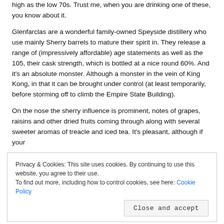high as the low 70s. Trust me, when you are drinking one of these, you know about it.
Glenfarclas are a wonderful family-owned Speyside distillery who use mainly Sherry barrels to mature their spirit in. They release a range of (impressively affordable) age statements as well as the 105, their cask strength, which is bottled at a nice round 60%. And it's an absolute monster. Although a monster in the vein of King Kong, in that it can be brought under control (at least temporarily, before storming off to climb the Empire State Building).
On the nose the sherry influence is prominent, notes of grapes, raisins and other dried fruits coming through along with several sweeter aromas of treacle and iced tea. It's pleasant, although if your
Privacy & Cookies: This site uses cookies. By continuing to use this website, you agree to their use.
To find out more, including how to control cookies, see here: Cookie Policy
Close and accept
to try. But once past the shock there are plenty of pleasing flavours to